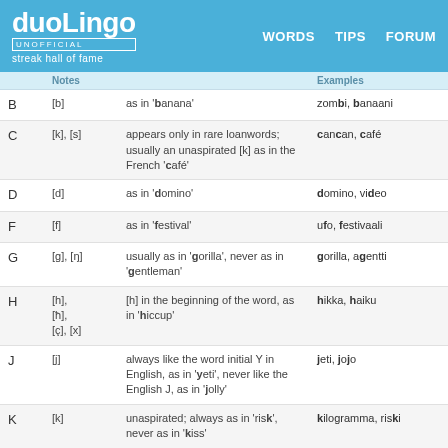duolingo UNOFFICIAL streak hall of fame | WORDS | TIPS | FORUM
|  | Notes |  | Examples |
| --- | --- | --- | --- |
| B | [b] | as in 'banana' | zombi, banaani |
| C | [k], [s] | appears only in rare loanwords; usually an unaspirated [k] as in the French 'café' | cancan, café |
| D | [d] | as in 'domino' | domino, video |
| F | [f] | as in 'festival' | ufo, festivaali |
| G | [g], [ŋ] | usually as in 'gorilla', never as in 'gentleman' | gorilla, agentti |
| H | [h], [ħ], [ç], [x] | [h] in the beginning of the word, as in 'hiccup' | hikka, haiku |
| J | [j] | always like the word initial Y in English, as in 'yeti', never like the English J, as in 'jolly' | jeti, jojo |
| K | [k] | unaspirated; always as in 'risk', never as in 'kiss' | kilogramma, riski |
| L | [l] | as in 'lotus' | lootus, Englanti |
| M | [m], [m̩] | most often pronounced as [m], as in 'mascot' | samba, maskotti |